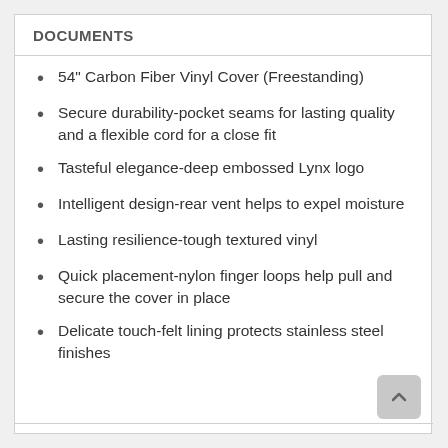DOCUMENTS
54" Carbon Fiber Vinyl Cover (Freestanding)
Secure durability-pocket seams for lasting quality and a flexible cord for a close fit
Tasteful elegance-deep embossed Lynx logo
Intelligent design-rear vent helps to expel moisture
Lasting resilience-tough textured vinyl
Quick placement-nylon finger loops help pull and secure the cover in place
Delicate touch-felt lining protects stainless steel finishes